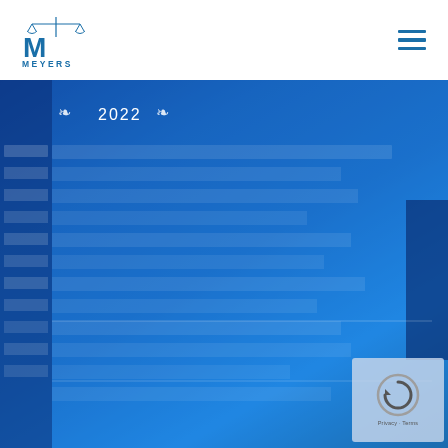[Figure (logo): Meyers Injury Law logo — stylized M with scales of justice above, text MEYERS below, and tagline INJURY LAW]
[Figure (screenshot): Blue-tinted background image of a website or document interface with blurred content rows, showing a 2022 award badge at top with decorative laurel/arrow elements and the year 2022, overlaid on a blue gradient. A reCAPTCHA widget appears in the bottom-right corner.]